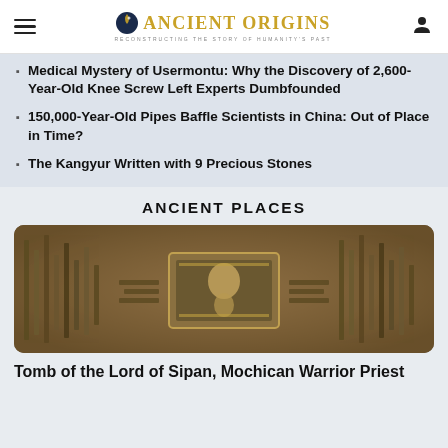Ancient Origins — Reconstructing the story of humanity's past
Medical Mystery of Usermontu: Why the Discovery of 2,600-Year-Old Knee Screw Left Experts Dumbfounded
150,000-Year-Old Pipes Baffle Scientists in China: Out of Place in Time?
The Kangyur Written with 9 Precious Stones
ANCIENT PLACES
[Figure (photo): Archaeological tomb contents showing skeletal remains and artifacts arranged symmetrically in an excavated chamber — Tomb of the Lord of Sipan]
Tomb of the Lord of Sipan, Mochican Warrior Priest